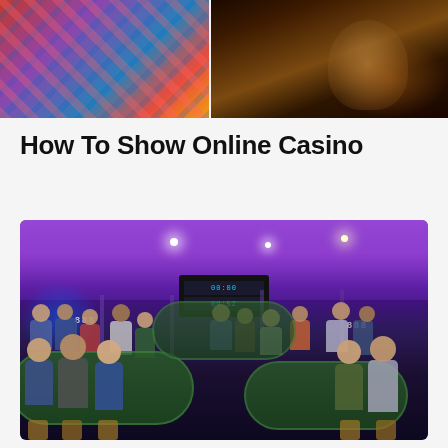[Figure (photo): Two casino images side by side: left shows colorful casino floor carpet with gaming tables, right shows a person at a slot machine in warm amber lighting]
How To Show Online Casino
[Figure (photo): Large indoor casino poker tournament hall with purple/blue ambient lighting, many players seated at green felt poker tables, scoreboard displays hanging from ceiling, columns visible throughout the hall]